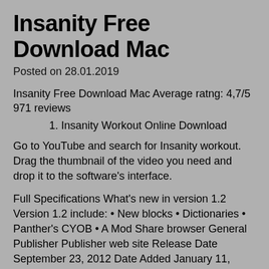Insanity Free Download Mac
Posted on 28.01.2019
Insanity Free Download Mac Average ratng: 4,7/5 971 reviews
1. Insanity Workout Online Download
Go to YouTube and search for Insanity workout. Drag the thumbnail of the video you need and drop it to the software’s interface.
Full Specifications What's new in version 1.2 Version 1.2 include: • New blocks • Dictionaries • Panther's CYOB • A Mod Share browser General Publisher Publisher web site Release Date September 23, 2012 Date Added January 11, 2013 Version 1.2 Category Category Subcategory Operating Systems Operating Systems Windows